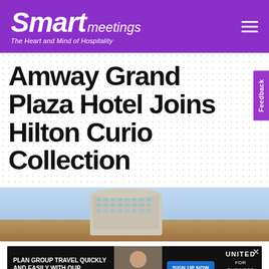Smart meetings — The Heart and Mind of Hospitality
Amway Grand Plaza Hotel Joins Hilton Curio Collection
[Figure (photo): Exterior photo of a large hotel building with a light blue sky background]
[Figure (photo): Advertisement banner: PLAN GROUP TRAVEL QUICKLY AND EASILY WITH OUR MEETINGS SOLUTIONS. SIGN UP NOW. UNITED FOR BUSINESS.]